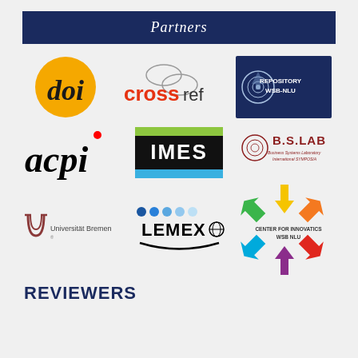Partners
[Figure (logo): DOI logo - orange circle with 'doi' text]
[Figure (logo): Crossref logo - 'cross' in red and 'ref' in black with loops]
[Figure (logo): Repository WSB-NLU logo - dark blue box with circular emblem and text]
[Figure (logo): acpi logo - bold italic black text with red dot]
[Figure (logo): IMES logo - white text on black box with blue and green bars]
[Figure (logo): B.S.LAB Business Systems Laboratory International SYMPOSIA logo]
[Figure (logo): Universität Bremen logo]
[Figure (logo): LEMEX logo with colored dots and arc]
[Figure (logo): Center for Innovatics WSB NLU logo with colorful arrows]
REVIEWERS